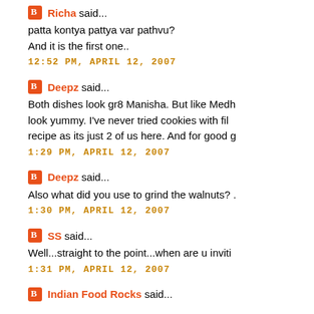Richa said... patta kontya pattya var pathvu? And it is the first one.. 12:52 PM, APRIL 12, 2007
Deepz said... Both dishes look gr8 Manisha. But like Medh look yummy. I've never tried cookies with fil recipe as its just 2 of us here. And for good g 1:29 PM, APRIL 12, 2007
Deepz said... Also what did you use to grind the walnuts? . 1:30 PM, APRIL 12, 2007
SS said... Well...straight to the point...when are u inviti 1:31 PM, APRIL 12, 2007
Indian Food Rocks said...